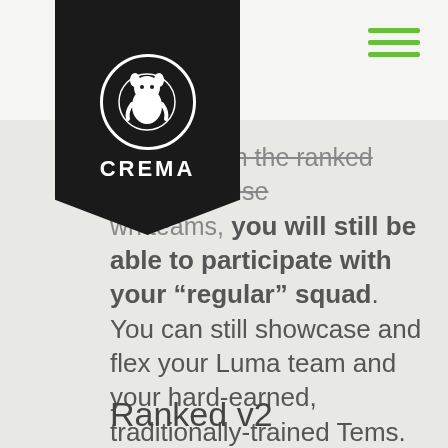CREMA
even though the ranked ladder will use wn teams, you will still be able to participate with your “regular” squad. You can still showcase and flex your Luma team and your hard-earned, traditionally-trained Tems.
Ranked v2